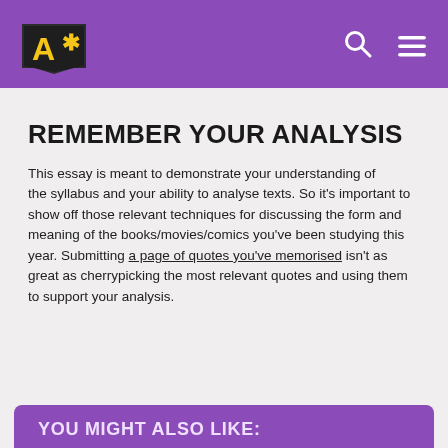A* logo, search and menu icons on purple header bar
REMEMBER YOUR ANALYSIS
This essay is meant to demonstrate your understanding of the syllabus and your ability to analyse texts. So it's important to show off those relevant techniques for discussing the form and meaning of the books/movies/comics you've been studying this year. Submitting a page of quotes you've memorised isn't as great as cherrypicking the most relevant quotes and using them to support your analysis.
YOU MIGHT ALSO LIKE: